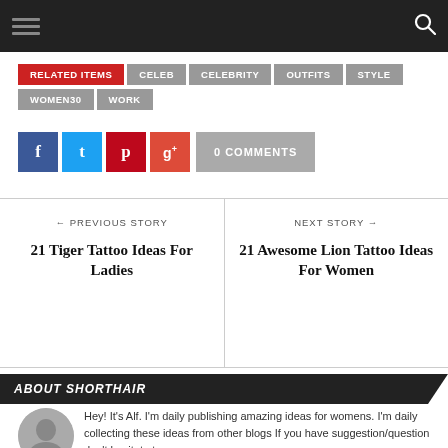Navigation bar with hamburger menu and search icon
RELATED ITEMS  CELEB  CELEBRITY  OUTFITS  STYLE  WOMEN30  WORK
f  t  p  g+  0 COMMENTS
← PREVIOUS STORY
21 Tiger Tattoo Ideas For Ladies
NEXT STORY →
21 Awesome Lion Tattoo Ideas For Women
ABOUT SHORTHAIR
Hey! It's Alf. I'm daily publishing amazing ideas for womens. I'm daily collecting these ideas from other blogs If you have suggestion/question don't hesitate to